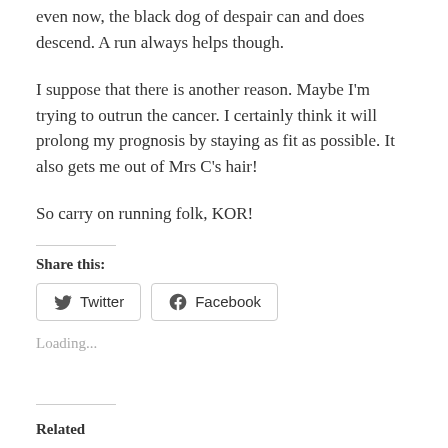even now, the black dog of despair can and does descend. A run always helps though.
I suppose that there is another reason. Maybe I'm trying to outrun the cancer. I certainly think it will prolong my prognosis by staying as fit as possible. It also gets me out of Mrs C's hair!
So carry on running folk, KOR!
Share this:
[Figure (other): Twitter and Facebook share buttons]
Loading...
Related